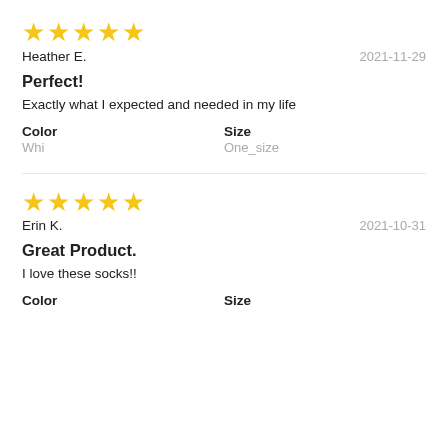[Figure (other): 5 yellow stars rating]
Heather E.                                     2021-11-29
Perfect!
Exactly what I expected and needed in my life
Color   Whi
Size   One_size
[Figure (other): 5 yellow stars rating]
Erin K.                                        2021-10-31
Great Product.
I love these socks!!
Color
Size